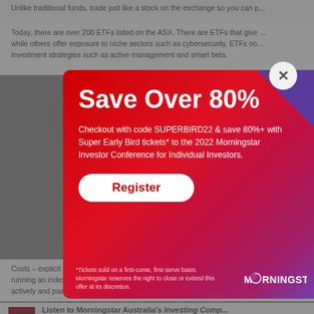Unlike traditional funds, trade just like a stock on the exchange so you can p...
Today, there are over 200 ETFs listed on the ASX. There are ETFs that give ... while others offer exposure to niche sectors such as cybersecurity. ETFs no... investment strategies such as active management and smart beta.
[Figure (other): Morningstar promotional modal popup with red-to-purple gradient background. Heading: 'Save Over 80%'. Body: 'Checkout with code SUPERBIRD22 & save 80%+ with Super Early Bird tickets* to the 2022 Morningstar Investor Conference for Individual Investors.' Register button. Disclaimer text and Morningstar logo at bottom. Close button (X) at top right.]
Costs – explicit costs like the expense ratio, and implicit costs like the cost o... running an index fund. Top-rated funds are among the lowest cost options in... actively and passively managed peers.
Listen to Morningstar Australia's Investing Comp...
Take a deep dive into investing concepts, with ...